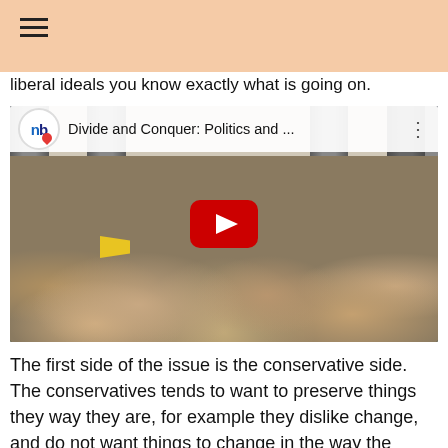≡
liberal ideals you know exactly what is going on.
[Figure (screenshot): YouTube video thumbnail screenshot showing a large crowd at an outdoor rally. The video is titled 'Divide and Conquer: Politics and ...' and features the NewsBusters (nb) logo. A red YouTube play button is centered on the image.]
The first side of the issue is the conservative side. The conservatives tends to want to preserve things they way they are, for example they dislike change, and do not want things to change in the way the country is run, how people come into